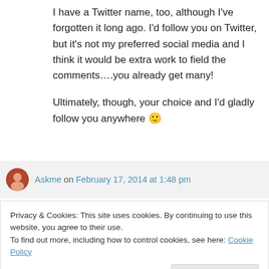I have a Twitter name, too, although I've forgotten it long ago. I'd follow you on Twitter, but it's not my preferred social media and I think it would be extra work to field the comments….you already get many!

Ultimately, though, your choice and I'd gladly follow you anywhere 🙂
Askme on February 17, 2014 at 1:48 pm
Privacy & Cookies: This site uses cookies. By continuing to use this website, you agree to their use.
To find out more, including how to control cookies, see here: Cookie Policy
Close and accept
henotheist13 on February 15, 2014 at 9:12 pm